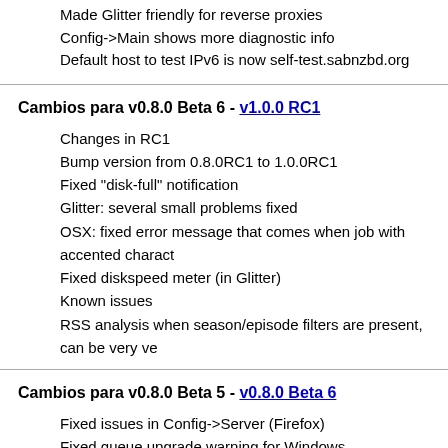Made Glitter friendly for reverse proxies
Config->Main shows more diagnostic info
Default host to test IPv6 is now self-test.sabnzbd.org
Cambios para v0.8.0 Beta 6 - v1.0.0 RC1
Changes in RC1
Bump version from 0.8.0RC1 to 1.0.0RC1
Fixed "disk-full" notification
Glitter: several small problems fixed
OSX: fixed error message that comes when job with accented charact
Fixed diskspeed meter (in Glitter)
Known issues
RSS analysis when season/episode filters are present, can be very ve
Cambios para v0.8.0 Beta 5 - v0.8.0 Beta 6
Fixed issues in Config->Server (Firefox)
Fixed queue upgrade warning for Windows
SSL protocol by default auto-negotiated with server
Fixed problem of multiple instances of SABnzbd when starting it with a
Fix problem of stray RAR files after unpack, which would fail the job
Lots of Glitter tweaks and fixes